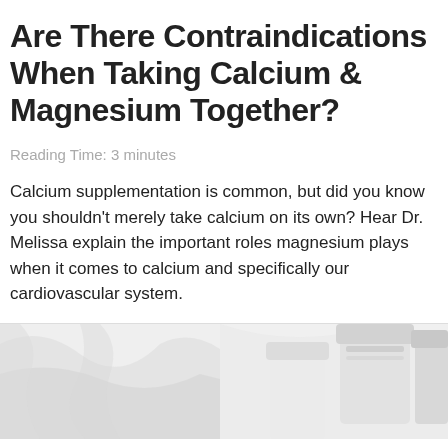Are There Contraindications When Taking Calcium & Magnesium Together?
Reading Time: 3 minutes
Calcium supplementation is common, but did you know you shouldn't merely take calcium on its own? Hear Dr. Melissa explain the important roles magnesium plays when it comes to calcium and specifically our cardiovascular system.
[Figure (photo): A photo showing white supplement/pill bottles on a light background]